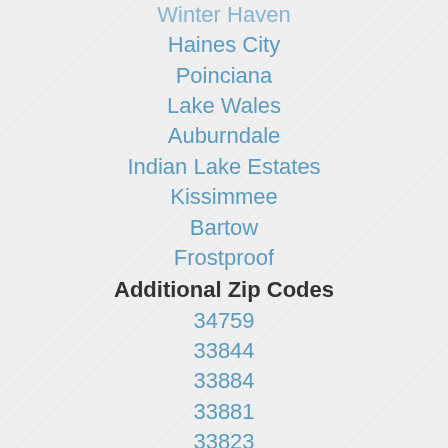Winter Haven
Haines City
Poinciana
Lake Wales
Auburndale
Indian Lake Estates
Kissimmee
Bartow
Frostproof
Additional Zip Codes
34759
33844
33884
33881
33823
33855
33880